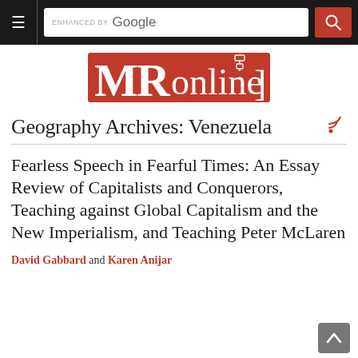≡ | ENHANCED BY Google [search] [🔍]
[Figure (logo): MRonline logo — white text on red background, plug icon]
Geography Archives: Venezuela
Fearless Speech in Fearful Times: An Essay Review of Capitalists and Conquerors, Teaching against Global Capitalism and the New Imperialism, and Teaching Peter McLaren
David Gabbard and Karen Anijar